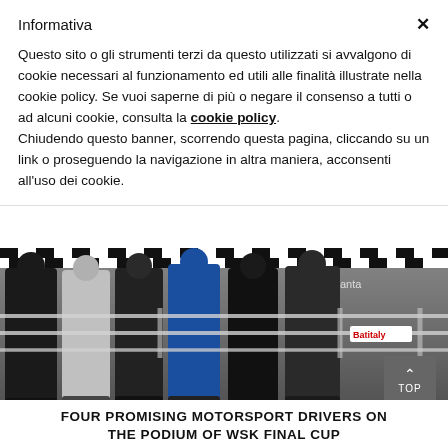Informativa
Questo sito o gli strumenti terzi da questo utilizzati si avvalgono di cookie necessari al funzionamento ed utili alle finalità illustrate nella cookie policy. Se vuoi saperne di più o negare il consenso a tutti o ad alcuni cookie, consulta la cookie policy.
Chiudendo questo banner, scorrendo questa pagina, cliccando su un link o proseguendo la navigazione in altra maniera, acconsenti all'uso dei cookie.
[Figure (photo): Racing podium photo showing multiple people standing on a podium with checkered flag decoration and metal railing. Logos visible including Batitaly and other racing sponsors.]
FOUR PROMISING MOTORSPORT DRIVERS ON THE PODIUM OF WSK FINAL CUP